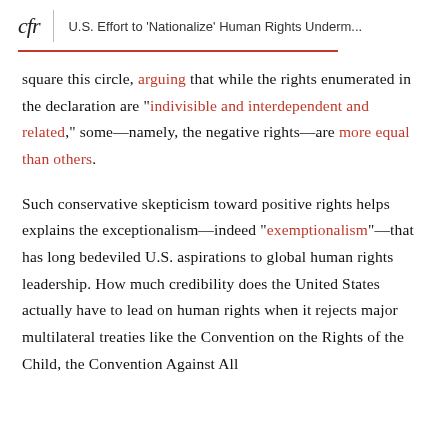cfr | U.S. Effort to 'Nationalize' Human Rights Underm...
square this circle, arguing that while the rights enumerated in the declaration are "indivisible and interdependent and related," some—namely, the negative rights—are more equal than others.
Such conservative skepticism toward positive rights helps explains the exceptionalism—indeed "exemptionalism"—that has long bedeviled U.S. aspirations to global human rights leadership. How much credibility does the United States actually have to lead on human rights when it rejects major multilateral treaties like the Convention on the Rights of the Child, the Convention Against All